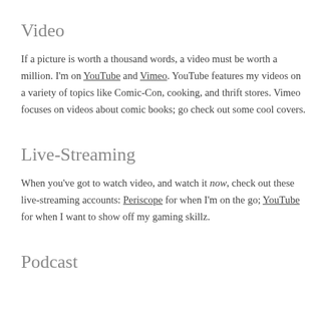Video
If a picture is worth a thousand words, a video must be worth a million. I'm on YouTube and Vimeo. YouTube features my videos on a variety of topics like Comic-Con, cooking, and thrift stores. Vimeo focuses on videos about comic books; go check out some cool covers.
Live-Streaming
When you've got to watch video, and watch it now, check out these live-streaming accounts: Periscope for when I'm on the go; YouTube for when I want to show off my gaming skillz.
Podcast